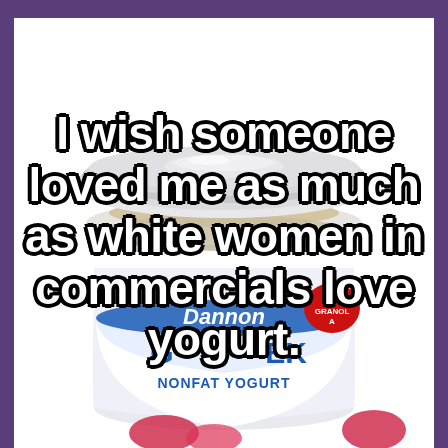[Figure (photo): A container of Dannon Oikos Greek Nonfat Yogurt with granola topper and raspberries visible at bottom, on white background, with meme text overlay]
I wish someone loved me as much as white women in commercials love yogurt.